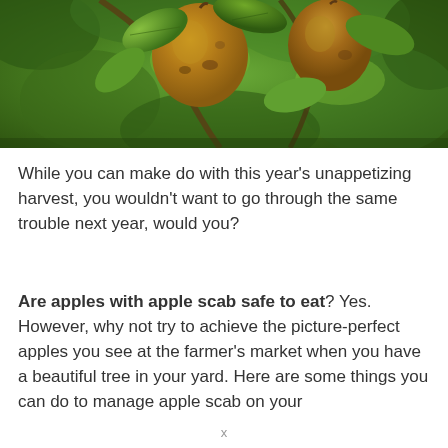[Figure (photo): Close-up photograph of apples hanging on a tree branch among green leaves. The apples show some discoloration/scabbing. Background is blurred green foliage.]
While you can make do with this year's unappetizing harvest, you wouldn't want to go through the same trouble next year, would you?
Are apples with apple scab safe to eat? Yes. However, why not try to achieve the picture-perfect apples you see at the farmer's market when you have a beautiful tree in your yard. Here are some things you can do to manage apple scab on your
x